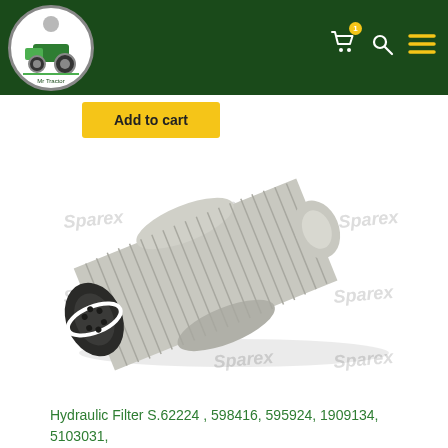Mr Tractor - header with logo, cart, search, and menu icons
Add to cart
[Figure (photo): Hydraulic filter element with cylindrical pleated mesh body and black rubber end cap with bolt pattern, shown diagonally on white background with Sparex watermarks]
Hydraulic Filter S.62224 , 598416, 595924, 1909134, 5103031,